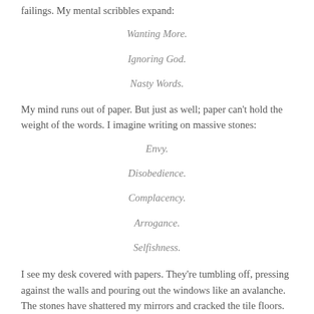failings. My mental scribbles expand:
Wanting More.
Ignoring God.
Nasty Words.
My mind runs out of paper. But just as well; paper can't hold the weight of the words. I imagine writing on massive stones:
Envy.
Disobedience.
Complacency.
Arrogance.
Selfishness.
I see my desk covered with papers. They're tumbling off, pressing against the walls and pouring out the windows like an avalanche. The stones have shattered my mirrors and cracked the tile floors.